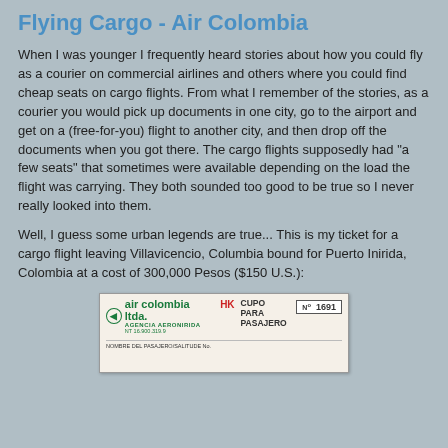Flying Cargo - Air Colombia
When I was younger I frequently heard stories about how you could fly as a courier on commercial airlines and others where you could find cheap seats on cargo flights. From what I remember of the stories, as a courier you would pick up documents in one city, go to the airport and get on a (free-for-you) flight to another city, and then drop off the documents when you got there. The cargo flights supposedly had "a few seats" that sometimes were available depending on the load the flight was carrying. They both sounded too good to be true so I never really looked into them.
Well, I guess some urban legends are true... This is my ticket for a cargo flight leaving Villavicencio, Columbia bound for Puerto Inirida, Colombia at a cost of 300,000 Pesos ($150 U.S.):
[Figure (photo): Photo of an Air Colombia Ltda. cargo flight ticket (cupo para pasajero) numbered 1691 with HK marking in red]